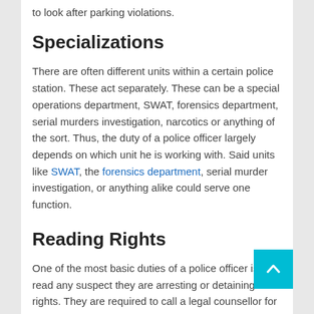to look after parking violations.
Specializations
There are often different units within a certain police station. These act separately. These can be a special operations department, SWAT, forensics department, serial murders investigation, narcotics or anything of the sort. Thus, the duty of a police officer largely depends on which unit he is working with. Said units like SWAT, the forensics department, serial murder investigation, or anything alike could serve one function.
Reading Rights
One of the most basic duties of a police officer is to read any suspect they are arresting or detaining their rights. They are required to call a legal counsellor for the captive regardless of the possibility that he or she can't manage the cost of one. They are also supposed to work within the scope of law and ensure that they themselves aren't breaking any. Each and every captive must be notified of why they are